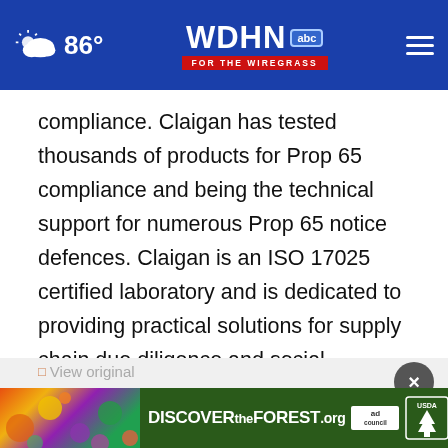86° WDHN FOR THE WIREGRASS abc
compliance. Claigan has tested thousands of products for Prop 65 compliance and being the technical support for numerous Prop 65 notice defences. Claigan is an ISO 17025 certified laboratory and is dedicated to providing practical solutions for supply chain due diligence and social responsibility. At Claigan, we believe in 'More Results. Less Journey.'
View original conte...
[Figure (screenshot): Advertisement banner for DISCOVERtheFOREST.org with Ad Council and US Forest Service logos, overlaid on colorful floral background]